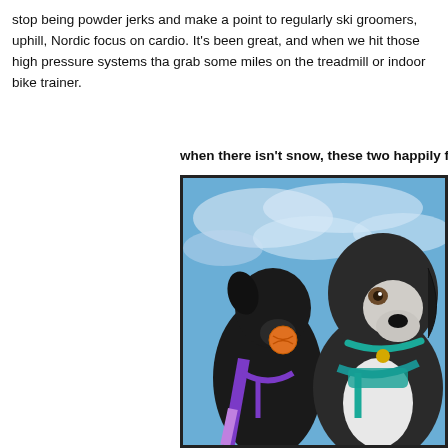stop being powder jerks and make a point to regularly ski groomers, uphill, Nordic focus on cardio. It's been great, and when we hit those high pressure systems that grab some miles on the treadmill or indoor bike trainer.
when there isn't snow, these two happily fet
[Figure (photo): Two dogs photographed from a low angle against a blue cloudy sky. The dog on the left is black and holds an orange tennis ball in its mouth, wearing a purple leash and harness. The dog on the right is a black and white mixed breed wearing a teal/green harness and collar.]